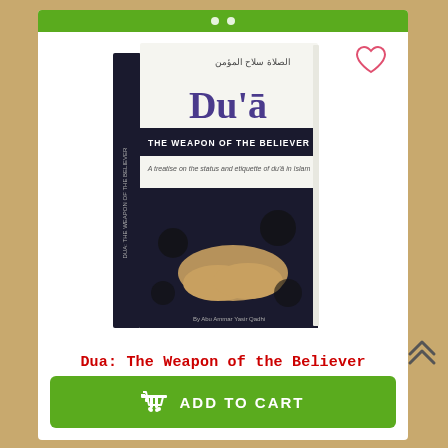[Figure (photo): Product listing screenshot of a book titled 'Dua: The Weapon of the Believer' showing the book cover with hands cupped in prayer, priced at RY01) $15.95, with an Add to Cart button on green background.]
Dua: The Weapon of the Believer
RY01) $15.95